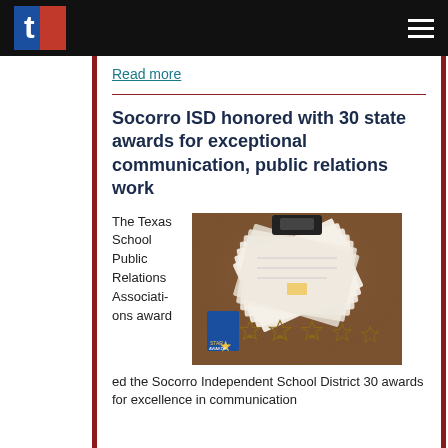t [logo] [hamburger menu]
Read more
Socorro ISD honored with 30 state awards for exceptional communication, public relations work
[Figure (photo): Awards display showing star-shaped trophies, certificates fanned out, and a STAR Awards book on a brown surface]
The Texas School Public Relations Association awarded the Socorro Independent School District 30 awards for excellence in communication